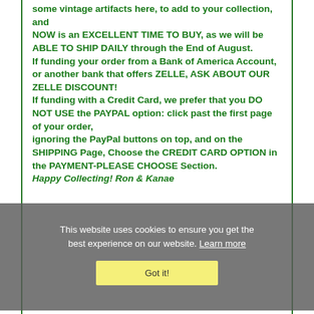some vintage artifacts here, to add to your collection, and NOW is an EXCELLENT TIME TO BUY, as we will be ABLE TO SHIP DAILY through the End of August. If funding your order from a Bank of America Account, or another bank that offers ZELLE, ASK ABOUT OUR ZELLE DISCOUNT! If funding with a Credit Card, we prefer that you DO NOT USE the PAYPAL option: click past the first page of your order, ignoring the PayPal buttons on top, and on the SHIPPING Page, Choose the CREDIT CARD OPTION in the PAYMENT-PLEASE CHOOSE Section. Happy Collecting! Ron & Kanae
This website uses cookies to ensure you get the best experience on our website. Learn more
Got it!